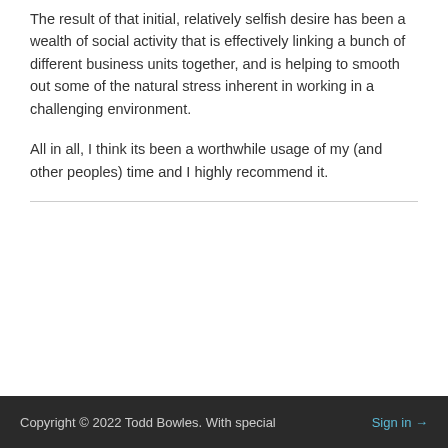The result of that initial, relatively selfish desire has been a wealth of social activity that is effectively linking a bunch of different business units together, and is helping to smooth out some of the natural stress inherent in working in a challenging environment.
All in all, I think its been a worthwhile usage of my (and other peoples) time and I highly recommend it.
Copyright © 2022 Todd Bowles. With special   Sign in →